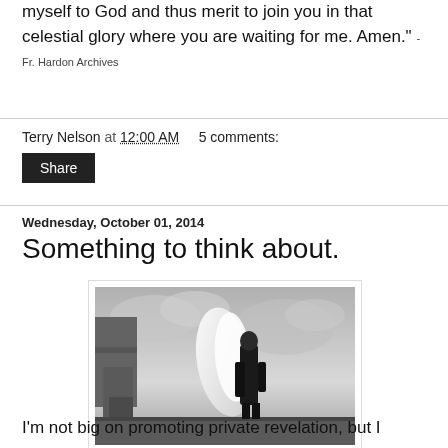myself to God and thus merit to join you in that celestial glory where you are waiting for me. Amen." - Fr. Hardon Archives
Terry Nelson at 12:00 AM    5 comments:
Share
Wednesday, October 01, 2014
Something to think about.
[Figure (photo): Black and white photo of a man in a long dark coat standing on a ledge with large white wings behind him, cloudy sky background]
I'm not big on promoting private revelation, but I came upon